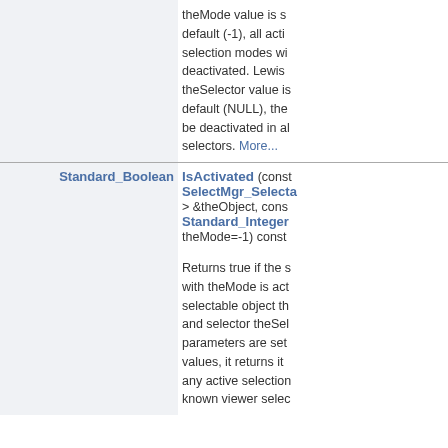| Type | Function/Description |
| --- | --- |
|  | theMode value is set to default (-1), all active selection modes will be deactivated. Likewise, theSelector value is set to default (NULL), the will be deactivated in all selectors. More... |
| Standard_Boolean | IsActivated (const SelectMgr_Selectable > &theObject, const Standard_Integer theMode=-1) const
Returns true if the s with theMode is act selectable object th and selector theSel parameters are set values, it returns it any active selection known viewer selec |